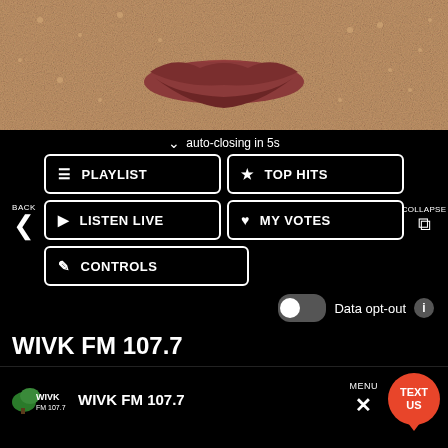[Figure (photo): Close-up photo of lips with glittery/grainy texture covering the face]
auto-closing in 5s
BACK
PLAYLIST
TOP HITS
COLLAPSE
LISTEN LIVE
MY VOTES
CONTROLS
Data opt-out
WIVK FM 107.7
WIVK FM 107.7
MENU
TEXT US